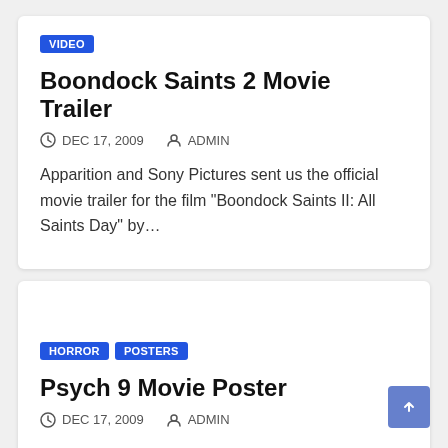VIDEO
Boondock Saints 2 Movie Trailer
DEC 17, 2009  ADMIN
Apparition and Sony Pictures sent us the official movie trailer for the film “Boondock Saints II: All Saints Day” by…
HORROR  POSTERS
Psych 9 Movie Poster
DEC 17, 2009  ADMIN